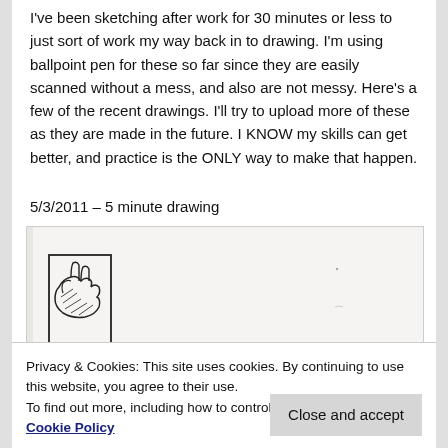I've been sketching after work for 30 minutes or less to just sort of work my way back in to drawing. I'm using ballpoint pen for these so far since they are easily scanned without a mess, and also are not messy. Here's a few of the recent drawings. I'll try to upload more of these as they are made in the future. I KNOW my skills can get better, and practice is the ONLY way to make that happen.
5/3/2011 – 5 minute drawing
[Figure (illustration): Scanned ballpoint pen sketch on white paper showing a rough hand/figure drawing in the lower left area of a large white scanned page]
Privacy & Cookies: This site uses cookies. By continuing to use this website, you agree to their use.
To find out more, including how to control cookies, see here: Cookie Policy